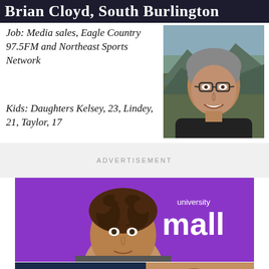Brian Cloyd, South Burlington
Job: Media sales, Eagle Country 97.5FM and Northeast Sports Network
Kids: Daughters Kelsey, 23, Lindey, 21, Taylor, 17
[Figure (photo): Portrait photo of a middle-aged man with grey hair and glasses, smiling, outdoors with mountains in background]
ADVERTISEMENT
[Figure (photo): University Mall advertisement with purple background, showing a young boy's head and 'university mall' text in white]
[Figure (photo): COVID-19 vaccines advertisement on dark navy background with yellow text reading 'COVID-19 vaccines now available for everyone 6 months +' and a child photo on the right]